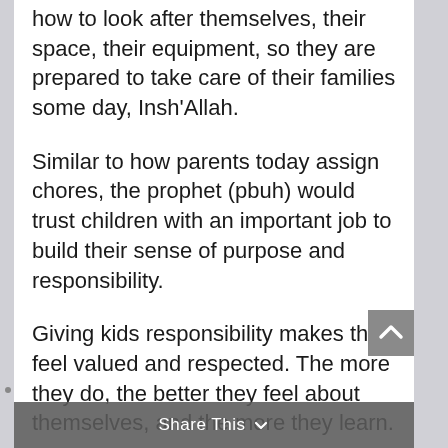how to look after themselves, their space, their equipment, so they are prepared to take care of their families some day, Insh’Allah.
Similar to how parents today assign chores, the prophet (pbuh) would trust children with an important job to build their sense of purpose and responsibility.
Giving kids responsibility makes them feel valued and respected. The more they do, the better they feel about themselves, and the more they learn.